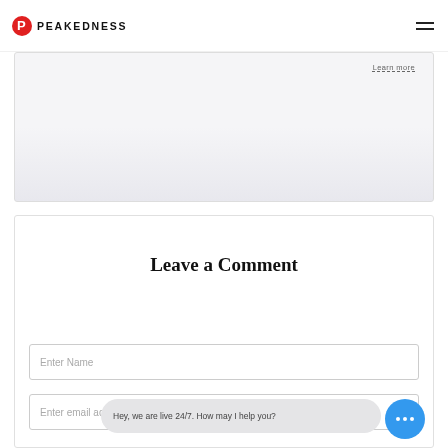PEAKEDNESS
[Figure (screenshot): Partially visible content card with a 'Learn More' link in the upper right area, gray gradient background]
Leave a Comment
Enter Name
Enter email address
Hey, we are live 24/7. How may I help you?